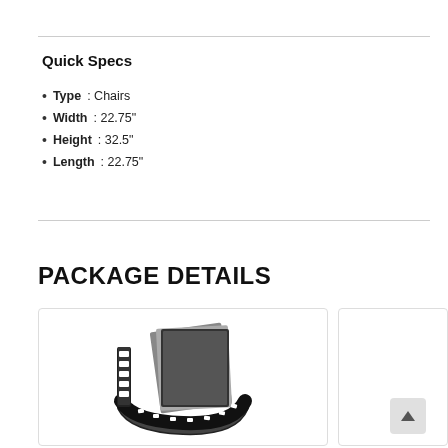Quick Specs
Type: Chairs
Width: 22.75"
Height: 32.5"
Length: 22.75"
PACKAGE DETAILS
[Figure (photo): Film roll / filmstrip illustration on white background, showing coiled film strip with photo frames]
[Figure (photo): Second card partially visible on right edge]